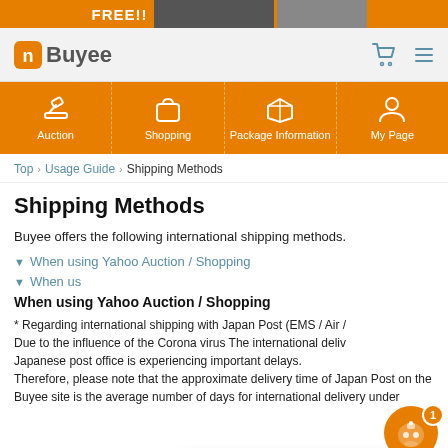[Figure (screenshot): Top promotional banner with FREE!! text and product images]
[Figure (logo): Buyee website logo with shopping cart and menu icons]
[Figure (infographic): Orange navigation bar with Auction, Shopping, Package Information, My Page icons]
Top > Usage Guide > Shipping Methods
Shipping Methods
Buyee offers the following international shipping methods.
▼ When using Yahoo Auction / Shopping
▼ When us...
When using Yahoo Auction / Shopping
* Regarding international shipping with Japan Post (EMS / Air / ...)
Due to the influence of the Corona virus The international deliv...
Japanese post office is experiencing important delays.
Therefore, please note that the approximate delivery time of Japan Post on the Buyee site is the average number of days for international delivery under
[Figure (screenshot): Chat popup: Hi, this is Buyee's assistant, I am here to help you out :)]